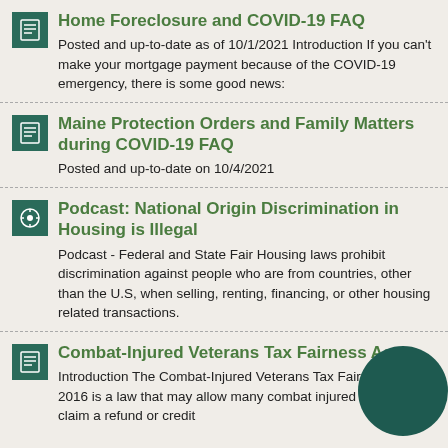Home Foreclosure and COVID-19 FAQ — Posted and up-to-date as of 10/1/2021 Introduction If you can't make your mortgage payment because of the COVID-19 emergency, there is some good news:
Maine Protection Orders and Family Matters during COVID-19 FAQ — Posted and up-to-date on 10/4/2021
Podcast: National Origin Discrimination in Housing is Illegal — Podcast - Federal and State Fair Housing laws prohibit discrimination against people who are from countries, other than the U.S, when selling, renting, financing, or other housing related transactions.
Combat-Injured Veterans Tax Fairness Act — Introduction The Combat-Injured Veterans Tax Fairness Act of 2016 is a law that may allow many combat injured veterans to claim a refund or credit